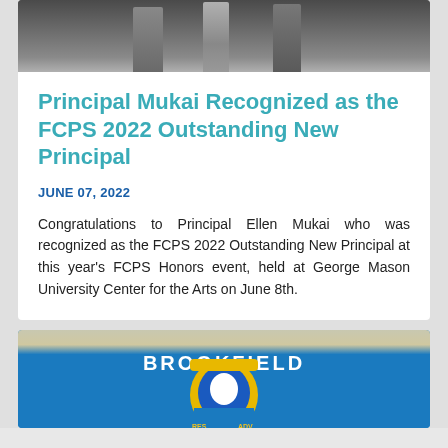[Figure (photo): Photo of people standing on a stage, partially cropped at the top]
Principal Mukai Recognized as the FCPS 2022 Outstanding New Principal
JUNE 07, 2022
Congratulations to Principal Ellen Mukai who was recognized as the FCPS 2022 Outstanding New Principal at this year's FCPS Honors event, held at George Mason University Center for the Arts on June 8th.
[Figure (photo): Photo of Brookfield school mascot mural on a blue brick wall with horseshoe and bulldog logo]